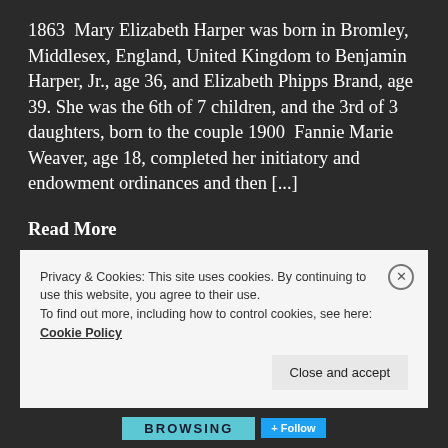1863  Mary Elizabeth Harper was born in Bromley, Middlesex, England, United Kingdom to Benjamin Harper, Jr., age 36, and Elizabeth Phipps Brand, age 39. She was the 6th of 7 children, and the 3rd of 3 daughters, born to the couple 1900  Fannie Marie Weaver, age 18, completed her initiatory and endowment ordinances and then [...]
Read More
Privacy & Cookies: This site uses cookies. By continuing to use this website, you agree to their use.
To find out more, including how to control cookies, see here: Cookie Policy
Close and accept